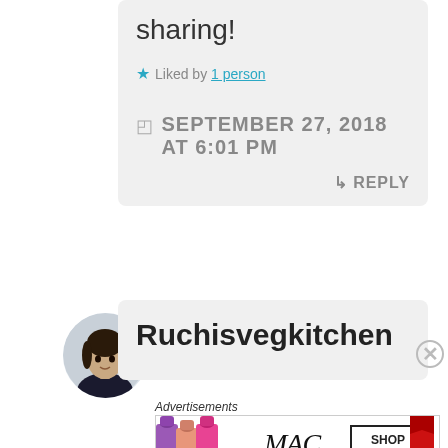sharing!
★ Liked by 1 person
SEPTEMBER 27, 2018 AT 6:01 PM
↳ REPLY
[Figure (photo): User avatar showing a woman with dark hair against a light background, displayed in a circular frame]
Ruchisvegkitchen
Advertisements
[Figure (photo): MAC Cosmetics advertisement banner showing lipsticks in purple, pink, and red colors with MAC logo and SHOP NOW box]